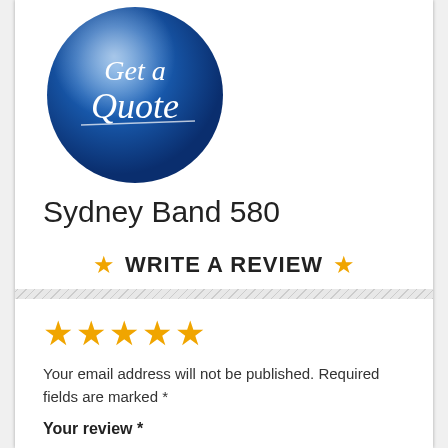[Figure (logo): Blue circular 'Get a Quote' button logo with white cursive script text on a glossy blue sphere background]
Sydney Band 580
★ WRITE A REVIEW ★
[Figure (other): Five gold star rating icons]
Your email address will not be published. Required fields are marked *
Your review *